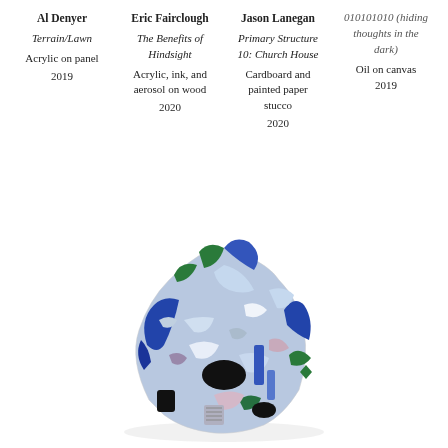Al Denyer
Terrain/Lawn
Acrylic on panel
2019
Eric Fairclough
The Benefits of Hindsight
Acrylic, ink, and aerosol on wood
2020
Jason Lanegan
Primary Structure 10: Church House
Cardboard and painted paper stucco
2020
010101010 (hiding thoughts in the dark)
Oil on canvas
2019
[Figure (photo): A sculptural artwork resembling a dense, colourful mass of folded and layered fabric or painted paper in blue, green, black, pink, and white tones, forming a roughly spherical cluster. The piece sits against a white background.]